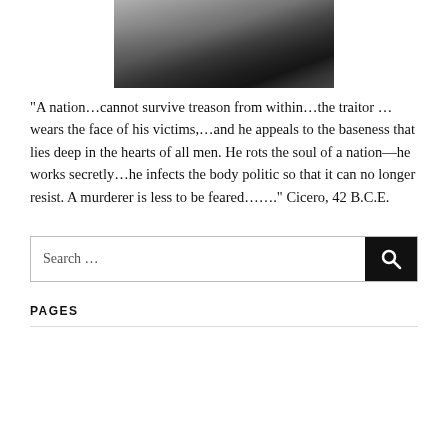[Figure (photo): Black and white close-up photo of a person, cropped showing face/neck area partially visible at top of page]
“A nation…cannot survive treason from within…the traitor …wears the face of his victims,…and he appeals to the baseness that lies deep in the hearts of all men. He rots the soul of a nation—he works secretly…he infects the body politic so that it can no longer resist. A murderer is less to be feared…….” Cicero, 42 B.C.E.
Search …
PAGES